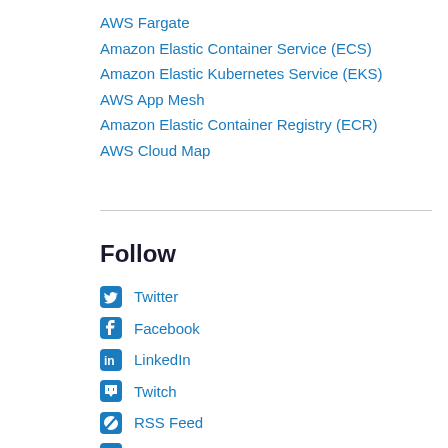AWS Fargate
Amazon Elastic Container Service (ECS)
Amazon Elastic Kubernetes Service (EKS)
AWS App Mesh
Amazon Elastic Container Registry (ECR)
AWS Cloud Map
Follow
Twitter
Facebook
LinkedIn
Twitch
RSS Feed
Email Updates